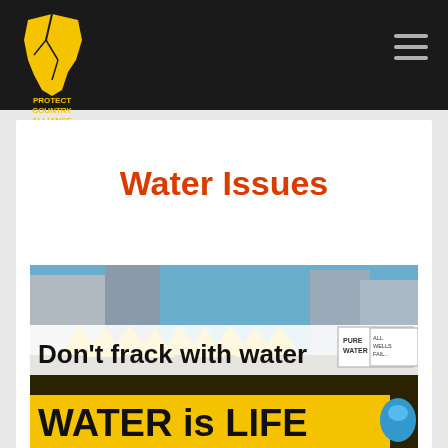[Figure (logo): Protect Country Alliance logo — yellow Queensland map shape with cracks, text PROTECT COUNTRY ALLIANCE below]
Water Issues
[Figure (photo): Protest crowd holding yellow triangular signs and a large yellow banner reading WATER is LIFE; a large banner in foreground reads Don't frack with water; signs also read PURE WATER and ALL WELLS FAIL...]